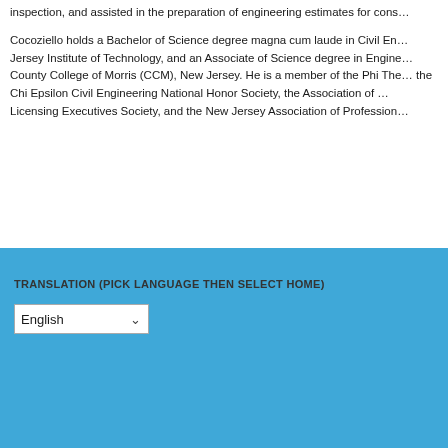inspection, and assisted in the preparation of engineering estimates for cons...
Cocoziello holds a Bachelor of Science degree magna cum laude in Civil Eng... Jersey Institute of Technology, and an Associate of Science degree in Engine... County College of Morris (CCM), New Jersey. He is a member of the Phi The... the Chi Epsilon Civil Engineering National Honor Society, the Association of ... Licensing Executives Society, and the New Jersey Association of Profession...
TRANSLATION (PICK LANGUAGE THEN SELECT HOME)
English